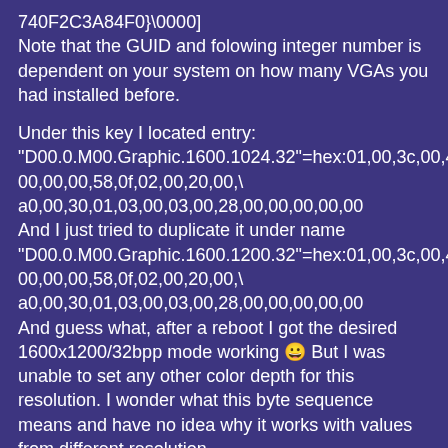740F2C3A84F0}\0000]
Note that the GUID and folowing integer number is dependent on your system on how many VGAs you had installed before.
Under this key I located entry:
"D00.0.M00.Graphic.1600.1024.32"=hex:01,00,3c,00,40,00,00,00,58,0f,02,00,20,00,\
a0,00,30,01,03,00,03,00,28,00,00,00,00,00
And I just tried to duplicate it under name
"D00.0.M00.Graphic.1600.1200.32"=hex:01,00,3c,00,40,00,00,00,58,0f,02,00,20,00,\
a0,00,30,01,03,00,03,00,28,00,00,00,00,00
And guess what, after a reboot I got the desired 1600x1200/32bpp mode working 😀 But I was unable to set any other color depth for this resolution. I wonder what this byte sequence means and have no idea why it works with values from different resolution.
I looked closer and found that this line comes from here (the